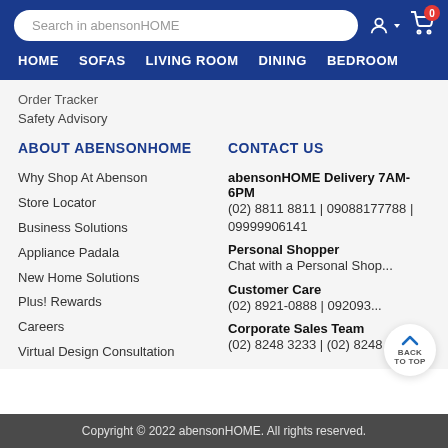[Figure (screenshot): abensonHOME website header with search bar, user icon, cart icon with badge showing 0]
HOME  SOFAS  LIVING ROOM  DINING  BEDROOM
Order Tracker
Safety Advisory
ABOUT ABENSONHOME
Why Shop At Abenson
Store Locator
Business Solutions
Appliance Padala
New Home Solutions
Plus! Rewards
Careers
Virtual Design Consultation
CONTACT US
abensonHOME Delivery 7AM-6PM
(02) 8811 8811 | 09088177788 | 09999906141
Personal Shopper
Chat with a Personal Shopper
Customer Care
(02) 8921-0888 | 09209...
Corporate Sales Team
(02) 8248 3233 | (02) 8248 3255
Copyright © 2022 abensonHOME. All rights reserved.